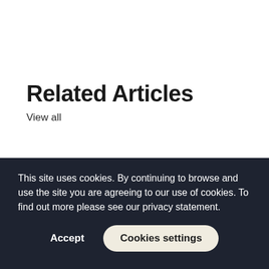Related Articles
View all
[Figure (photo): Photograph of residential houses with red/orange tile roofs under a cloudy blue sky, with a 'NEW HOMES' orange label banner overlaid at the bottom left]
This site uses cookies. By continuing to browse and use the site you are agreeing to our use of cookies. To find out more please see our privacy statement.
Accept
Cookies settings